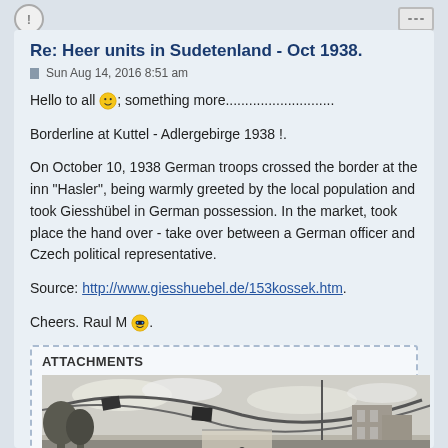Re: Heer units in Sudetenland - Oct 1938.
Sun Aug 14, 2016 8:51 am
Hello to all 😊; something more............................
Borderline at Kuttel - Adlergebirge 1938 !.
On October 10, 1938 German troops crossed the border at the inn "Hasler", being warmly greeted by the local population and took Giesshübel in German possession. In the market, took place the hand over - take over between a German officer and Czech political representative.
Source: http://www.giesshuebel.de/153kossek.htm.
Cheers. Raul M 😎.
ATTACHMENTS
[Figure (photo): Black and white historical photograph showing a crowded street scene with flags and people, likely depicting German troops entering Sudetenland in 1938.]